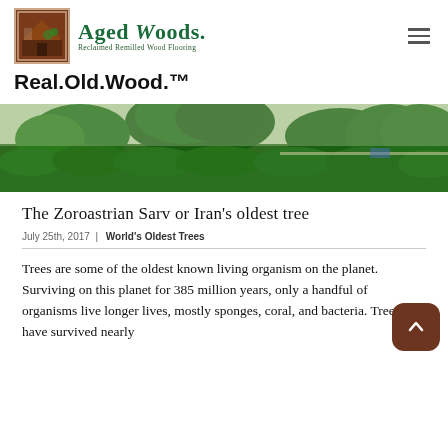[Figure (logo): Aged Woods logo with tree/barn icon and text 'Aged Woods. Reclaimed Remilled Wood Flooring']
Real.Old.Wood.™
[Figure (photo): Wide landscape photo of a very large ancient tree surrounded by green hedge landscaping and other trees]
The Zoroastrian Sarv or Iran's oldest tree
July 25th, 2017 | World's Oldest Trees
Trees are some of the oldest known living organism on the planet. Surviving on this planet for 385 million years, only a handful of organisms live longer lives, mostly sponges, coral, and bacteria. Trees have survived nearly